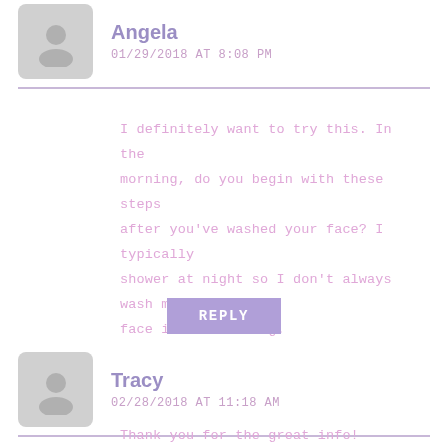Angela
01/29/2018 AT 8:08 PM
I definitely want to try this. In the morning, do you begin with these steps after you've washed your face? I typically shower at night so I don't always wash my face in the morning.
REPLY
Tracy
02/28/2018 AT 11:18 AM
Thank you for the great info! Question tho… I wake up at 4:30 a.m. to get my workout